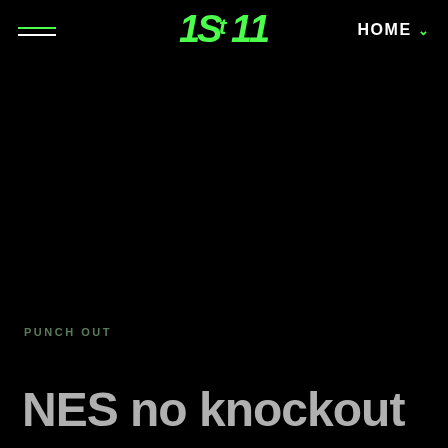[Figure (logo): 1St11 website logo in green stylized font]
HOME v
PUNCH OUT
NES no knockout